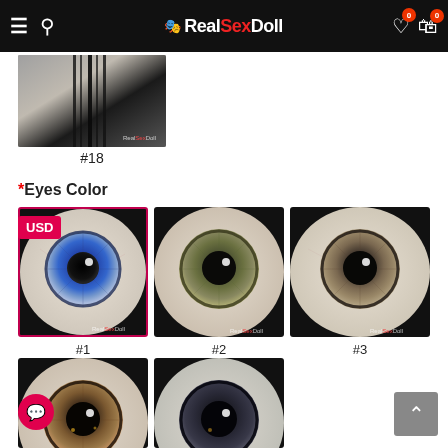RealSexDoll — website header with navigation, search, wishlist, and cart icons
[Figure (photo): Hair option #18 — doll with long straight black hair, product thumbnail]
#18
*Eyes Color
[Figure (photo): Eye color option #1 — blue iris with dark pupil, selected (pink border)]
#1
[Figure (photo): Eye color option #2 — olive/green-grey iris with dark pupil]
#2
[Figure (photo): Eye color option #3 — grey-brown iris with dark pupil]
#3
[Figure (photo): Eye color option #4 — brown iris with dark pupil (partial view, bottom row)]
[Figure (photo): Eye color option #5 — dark grey/black iris with dark pupil (partial view, bottom row)]